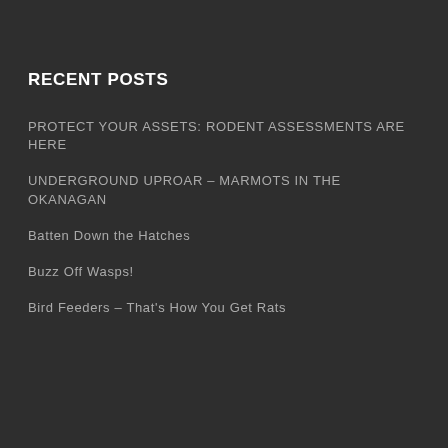RECENT POSTS
PROTECT YOUR ASSETS: RODENT ASSESSMENTS ARE HERE
UNDERGROUND UPROAR – MARMOTS IN THE OKANAGAN
Batten Down the Hatches
Buzz Off Wasps!
Bird Feeders – That's How You Get Rats